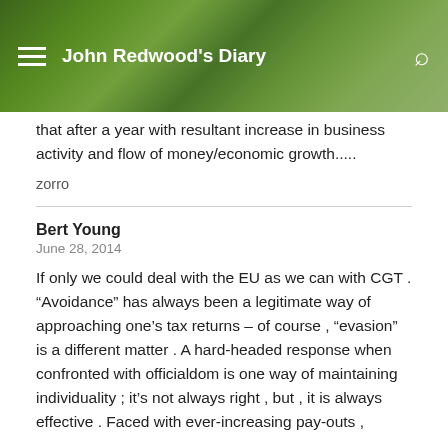John Redwood's Diary
that after a year with resultant increase in business activity and flow of money/economic growth.....
zorro
Bert Young
June 28, 2014
If only we could deal with the EU as we can with CGT . “Avoidance” has always been a legitimate way of approaching one’s tax returns – of course , “evasion” is a different matter . A hard-headed response when confronted with officialdom is one way of maintaining individuality ; it’s not always right , but , it is always effective . Faced with ever-increasing pay-outs ,